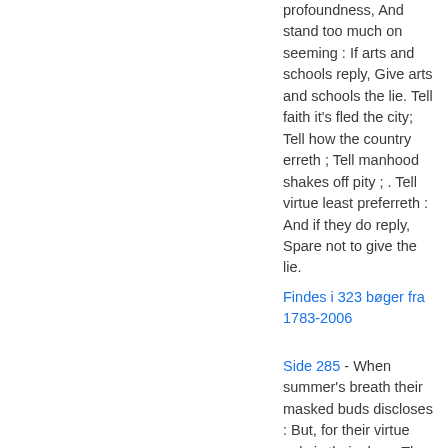profoundness, And stand too much on seeming : If arts and schools reply, Give arts and schools the lie. Tell faith it's fled the city; Tell how the country erreth ; Tell manhood shakes off pity ; . Tell virtue least preferreth : And if they do reply, Spare not to give the lie.
Findes i 323 bøger fra 1783-2006
Side 285 - When summer's breath their masked buds discloses : But, for their virtue only is their show, They live unwoo'd and unrespected fade, Die to themselves. Sweet roses